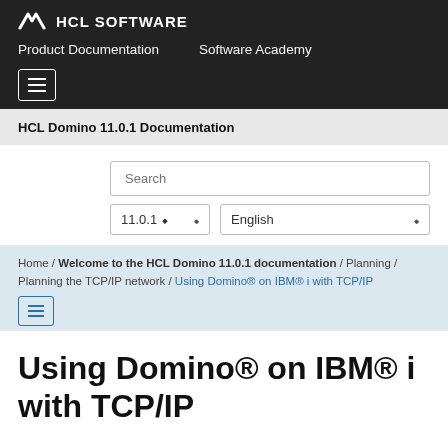HCL SOFTWARE
Product Documentation  Software Academy
HCL Domino 11.0.1 Documentation
Search
11.0.1  English
Home / Welcome to the HCL Domino 11.0.1 documentation / Planning / Planning the TCP/IP network / Using Domino® on IBM® i with TCP/IP
Using Domino® on IBM® i with TCP/IP